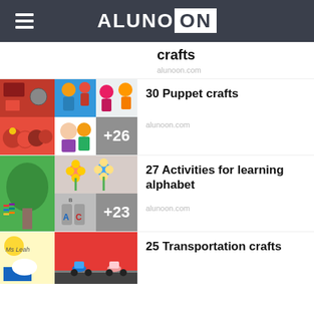ALUNOON
crafts
alunoon.com
[Figure (photo): Collage of puppet crafts images with +26 overlay]
30 Puppet crafts
alunoon.com
[Figure (photo): Collage of alphabet learning activity images with +23 overlay]
27 Activities for learning alphabet
alunoon.com
[Figure (photo): Collage of transportation crafts images]
25 Transportation crafts